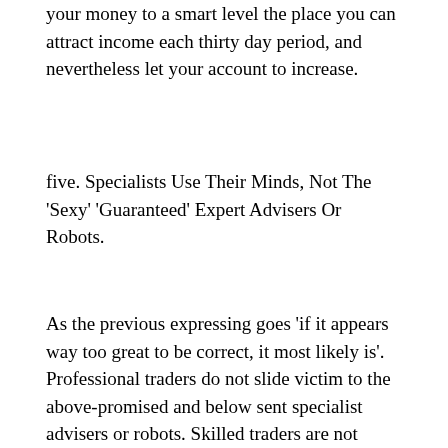your money to a smart level the place you can attract income each thirty day period, and nevertheless let your account to increase.
five. Specialists Use Their Minds, Not The 'Sexy' 'Guaranteed' Expert Advisers Or Robots.
As the previous expressing goes 'if it appears way too great to be correct, it most likely is'. Professional traders do not slide victim to the above-promised and below sent specialist advisers or robots. Skilled traders are not seeking for the 'holy grail' or 'next big thing'. Knowledgeable traders know that these guarantees are extremely unlikely to function extended-time period, if they even work in the initial area, and hold no value in them. Professional traders expand their account by utilizing their thoughts, their capabilities and their capabilities. For Bold Prime Review, no laptop plan for $27 will be